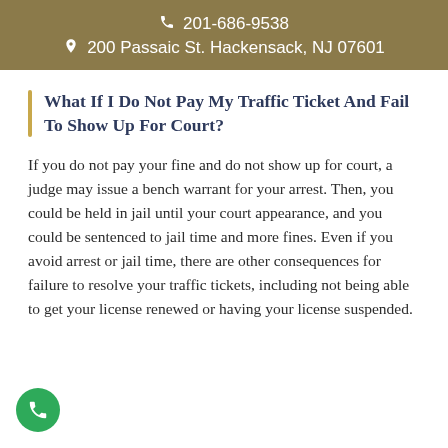201-686-9538
200 Passaic St. Hackensack, NJ 07601
What If I Do Not Pay My Traffic Ticket And Fail To Show Up For Court?
If you do not pay your fine and do not show up for court, a judge may issue a bench warrant for your arrest. Then, you could be held in jail until your court appearance, and you could be sentenced to jail time and more fines. Even if you avoid arrest or jail time, there are other consequences for failure to resolve your traffic tickets, including not being able to get your license renewed or having your license suspended.